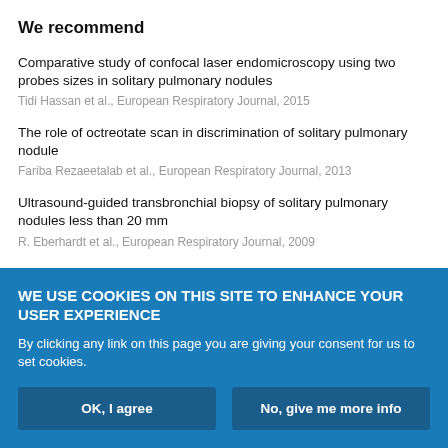We recommend
Comparative study of confocal laser endomicroscopy using two probes sizes in solitary pulmonary nodules
Tidi Hassan et al., European Respiratory Journal, 2015
The role of octreotate scan in discrimination of solitary pulmonary nodule
Fariba Rezaeetalab et al., European Respiratory Journal, 2013
Ultrasound-guided transbronchial biopsy of solitary pulmonary nodules less than 20 mm
R. Eberhardt et al., European Respiratory Journal, 2009
An interesting case of incidental solitary pulmonary nodule
Mahismita Patro et al., Breathe, 2018
Radioguided VATS resections of subcentimetric solitary pulmonary
WE USE COOKIES ON THIS SITE TO ENHANCE YOUR USER EXPERIENCE
By clicking any link on this page you are giving your consent for us to set cookies.
OK, I agree
No, give me more info